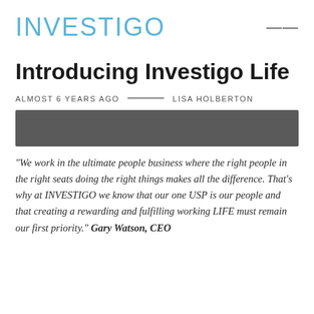INVESTIGO
Introducing Investigo Life
ALMOST 6 YEARS AGO — LISA HOLBERTON
[Figure (photo): Dark gray/charcoal horizontal banner image]
“We work in the ultimate people business where the right people in the right seats doing the right things makes all the difference. That’s why at INVESTIGO we know that our one USP is our people and that creating a rewarding and fulfilling working LIFE must remain our first priority.” Gary Watson, CEO